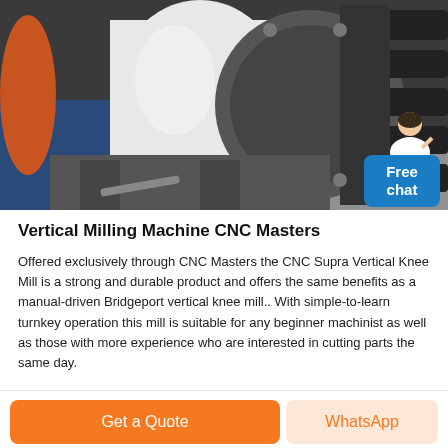[Figure (photo): Close-up photo of a large industrial CNC vertical milling machine spindle/gear assembly on a workshop floor, with black gear teeth visible and a white cylindrical housing]
Vertical Milling Machine CNC Masters
Offered exclusively through CNC Masters the CNC Supra Vertical Knee Mill is a strong and durable product and offers the same benefits as a manual-driven Bridgeport vertical knee mill.. With simple-to-learn turnkey operation this mill is suitable for any beginner machinist as well as those with more experience who are interested in cutting parts the same day.
Get a Quote
WhatsApp